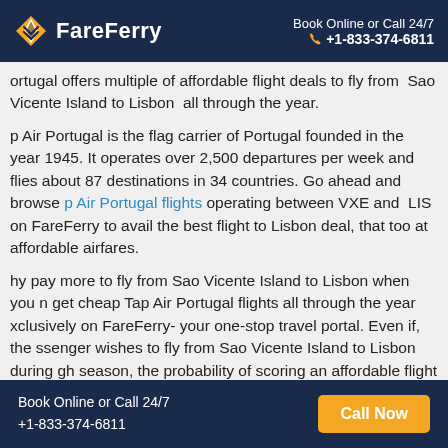FareFerry | Book Online or Call 24/7 +1-833-374-6811
Portugal offers multiple of affordable flight deals to fly from Sao Vicente Island to Lisbon all through the year.
Tap Air Portugal is the flag carrier of Portugal founded in the year 1945. It operates over 2,500 departures per week and flies about 87 destinations in 34 countries. Go ahead and browse Tap Air Portugal flights operating between VXE and LIS on FareFerry to avail the best flight to Lisbon deal, that too at affordable airfares.
Why pay more to fly from Sao Vicente Island to Lisbon when you can get cheap Tap Air Portugal flights all through the year exclusively on FareFerry- your one-stop travel portal. Even if, the passenger wishes to fly from Sao Vicente Island to Lisbon during high season, the probability of scoring an affordable flight deal never goes down. What are you waiting for? Book the Tap Air Portugal flight ticket to fly from Sao Vicente Island to Lisbon from FareFerry and avail big saving for other travel fun in
Book Online or Call 24/7 +1-833-374-6811 | Call Now